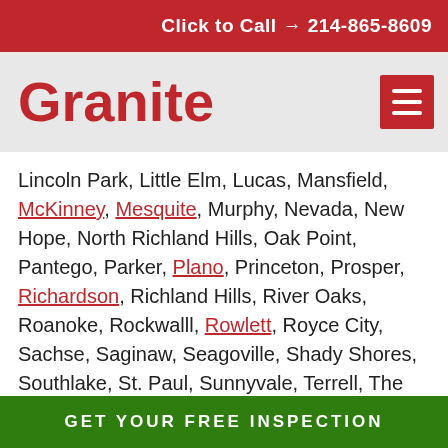Click to Call → 214-865-8609
Granite
Lincoln Park, Little Elm, Lucas, Mansfield, McKinney, Mesquite, Murphy, Nevada, New Hope, North Richland Hills, Oak Point, Pantego, Parker, Plano, Princeton, Prosper, Richardson, Richland Hills, River Oaks, Roanoke, Rockwalll, Rowlett, Royce City, Sachse, Saginaw, Seagoville, Shady Shores, Southlake, St. Paul, Sunnyvale, Terrell, The Colony, University Park, Watauga, Westlake, Westwood Village, Wilmer, White Settlement, and Wylie.
GET YOUR FREE INSPECTION